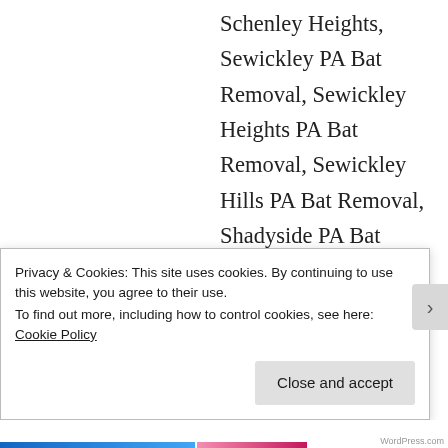Schenley Heights, Sewickley PA Bat Removal, Sewickley Heights PA Bat Removal, Sewickley Hills PA Bat Removal, Shadyside PA Bat Removal, Sharpsburg PA Bat Removal, Sheraden, Shields, Soho, South Hills, Spring Hill, Springdale, Squirrel Hill PA Bat Removal , Stanton Heights, Sturgeon, Swissvale, Tarentum,
Privacy & Cookies: This site uses cookies. By continuing to use this website, you agree to their use.
To find out more, including how to control cookies, see here: Cookie Policy
Close and accept